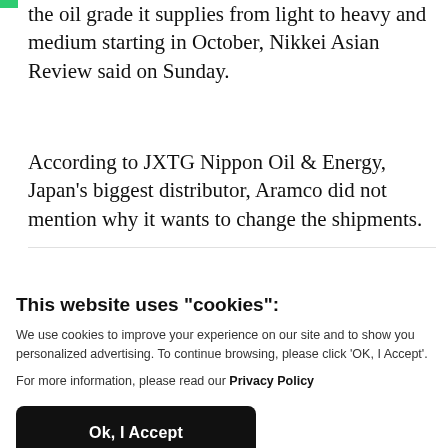the oil grade it supplies from light to heavy and medium starting in October, Nikkei Asian Review said on Sunday.
According to JXTG Nippon Oil & Energy, Japan's biggest distributor, Aramco did not mention why it wants to change the shipments.
This website uses "cookies":
We use cookies to improve your experience on our site and to show you personalized advertising. To continue browsing, please click 'OK, I Accept'.
For more information, please read our Privacy Policy
Ok, I Accept